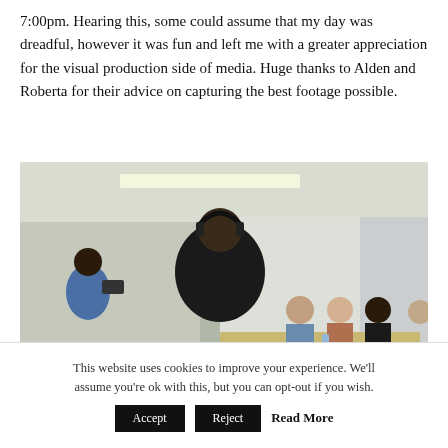7:00pm. Hearing this, some could assume that my day was dreadful, however it was fun and left me with a greater appreciation for the visual production side of media. Huge thanks to Alden and Roberta for their advice on capturing the best footage possible.
[Figure (photo): A person wearing headphones and a black jacket stands with their back to the camera, appearing to film or direct a group of people seated around a table in a conference room. Another person in blue is visible on the left side holding a camera.]
This website uses cookies to improve your experience. We'll assume you're ok with this, but you can opt-out if you wish. Accept Reject Read More